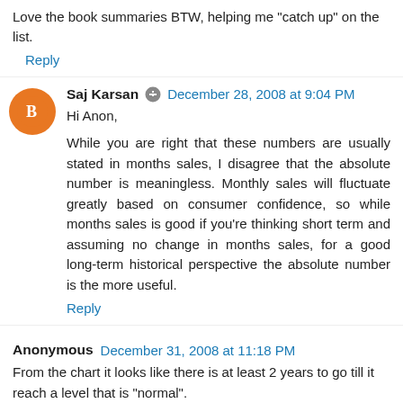Love the book summaries BTW, helping me "catch up" on the list.
Reply
Saj Karsan  December 28, 2008 at 9:04 PM
Hi Anon,

While you are right that these numbers are usually stated in months sales, I disagree that the absolute number is meaningless. Monthly sales will fluctuate greatly based on consumer confidence, so while months sales is good if you're thinking short term and assuming no change in months sales, for a good long-term historical perspective the absolute number is the more useful.
Reply
Anonymous  December 31, 2008 at 11:18 PM
From the chart it looks like there is at least 2 years to go till it reach a level that is "normal".